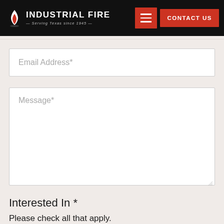Industrial Fire — Serving Texas since 1945
Email Address*
Message*
Interested In *
Please check all that apply.